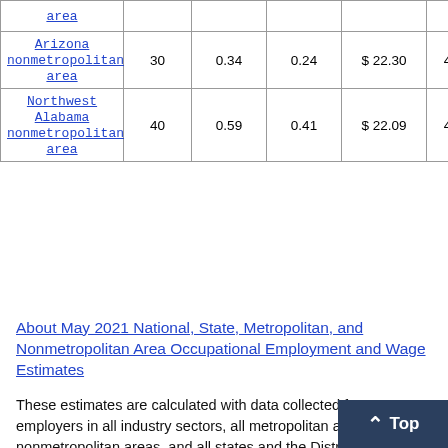| Area |  |  |  |  |  |
| --- | --- | --- | --- | --- | --- |
| area |  |  |  |  |  |
| Arizona nonmetropolitan area | 30 | 0.34 | 0.24 | $ 22.30 | 46 |
| Northwest Alabama nonmetropolitan area | 40 | 0.59 | 0.41 | $ 22.09 | 45 |
About May 2021 National, State, Metropolitan, and Nonmetropolitan Area Occupational Employment and Wage Estimates
These estimates are calculated with data collected from employers in all industry sectors, all metropolitan and nonmetropolitan areas, and all states and the District of Columbia. The top employment and wage figures are provided above. The complete list is available in the downloadable XLS files.
The percentile wage estimate is the value of a wage below which a certain percent of workers fall. The median wage is the 50th percentile wage estimate—50 percent of workers earn less than the median and 50 percent of workers earn more than the med... about percentile wages.